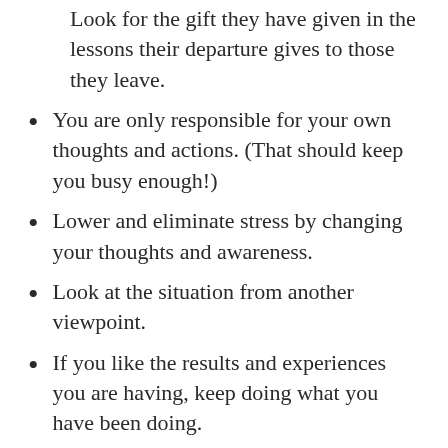Look for the gift they have given in the lessons their departure gives to those they leave.
You are only responsible for your own thoughts and actions. (That should keep you busy enough!)
Lower and eliminate stress by changing your thoughts and awareness.
Look at the situation from another viewpoint.
If you like the results and experiences you are having, keep doing what you have been doing.